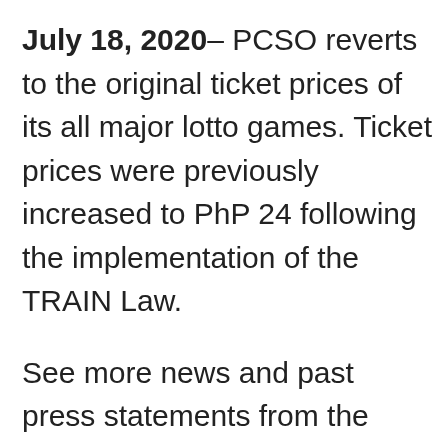July 18, 2020– PCSO reverts to the original ticket prices of its all major lotto games. Ticket prices were previously increased to PhP 24 following the implementation of the TRAIN Law.
See more news and past press statements from the Philippine Charity Sweepstakes Office on our Lotto News section.